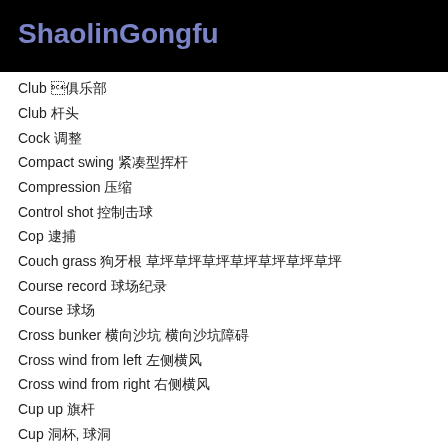ShaolinGongfu
Club 俱乐部
Club 杆头
Cock 调整
Compact swing 紧凑型挥杆
Compression 压缩
Control shot 控制击球
Cop 逮捕
Couch grass 狗牙根 草坪草坪草坪草坪草坪草坪草坪
Course record 球场纪录
Course 球场
Cross bunker 横向沙坑 横向沙坑障碍
Cross wind from left 左侧横风
Cross wind from right 右侧横风
Cup up 旗杆
Cup 洞杯, 球洞
Cuppy lie 凹洼球位
Curling under 向内卷曲